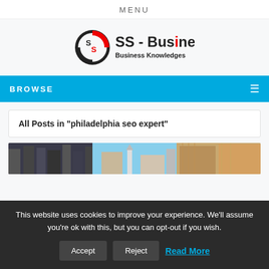MENU
[Figure (logo): SS-Business logo with circular SS emblem and text 'SS - Business / Business Knowledges']
BROWSE
All Posts in "philadelphia seo expert"
[Figure (photo): Philadelphia cityscape photo showing buildings and a statue]
This website uses cookies to improve your experience. We'll assume you're ok with this, but you can opt-out if you wish.
Accept | Reject | Read More